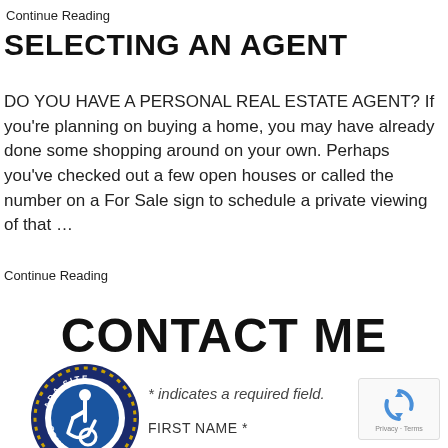Continue Reading
SELECTING AN AGENT
DO YOU HAVE A PERSONAL REAL ESTATE AGENT? If you're planning on buying a home, you may have already done some shopping around on your own. Perhaps you've checked out a few open houses or called the number on a For Sale sign to schedule a private viewing of that …
Continue Reading
CONTACT ME
[Figure (logo): ADA Site Compliance badge — circular seal with wheelchair accessibility symbol]
* indicates a required field.
FIRST NAME *
[Figure (logo): reCAPTCHA widget showing circular arrow logo and 'Privacy - Terms' text]